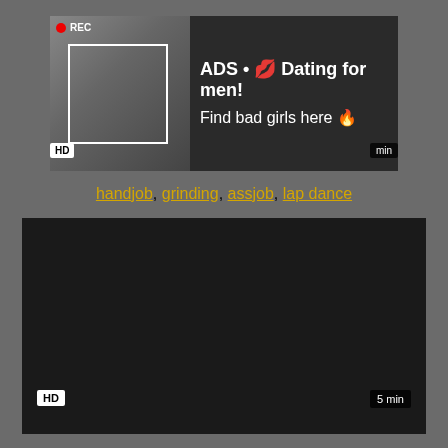[Figure (screenshot): Ad overlay on video thumbnail showing woman taking mirror selfie with camera focus box and REC indicator]
ADS • 💋 Dating for men! Find bad girls here 🔥
HD
min
handjob, grinding, assjob, lap dance
[Figure (screenshot): Dark/black video player area]
HD
5 min